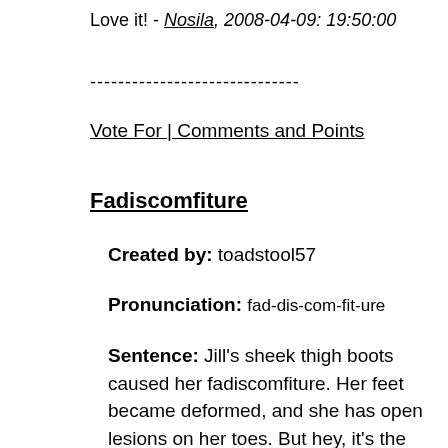Love it! - Nosila, 2008-04-09: 19:50:00
------------------------------
Vote For | Comments and Points
Fadiscomfiture
Created by: toadstool57
Pronunciation: fad-dis-com-fit-ure
Sentence: Jill's sheek thigh boots caused her fadiscomfiture. Her feet became deformed, and she has open lesions on her toes. But hey, it's the coolest trend, and she looks marvelous!
Etymology: fad, as in fasion/discomfiture, as in injury